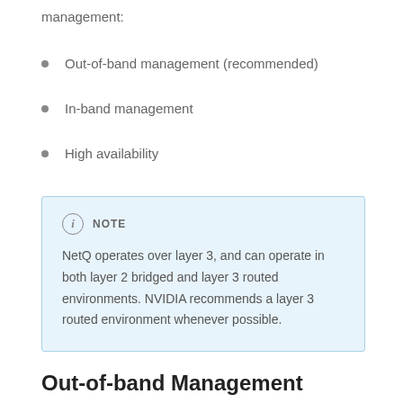management:
Out-of-band management (recommended)
In-band management
High availability
NOTE
NetQ operates over layer 3, and can operate in both layer 2 bridged and layer 3 routed environments. NVIDIA recommends a layer 3 routed environment whenever possible.
Out-of-band Management